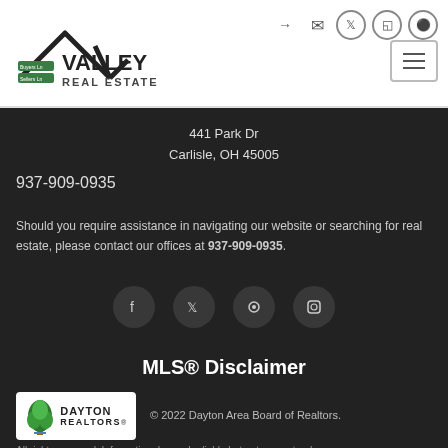[Figure (logo): Valley Real Estate logo with house roofline and street signs]
441 Park Dr
Carlisle, OH 45005
937-909-0935
Should you require assistance in navigating our website or searching for real estate, please contact our offices at 937-909-0935.
[Figure (illustration): Row of social media icon circles: Facebook, Twitter, Pinterest, Instagram]
MLS® Disclaimer
[Figure (logo): Dayton Realtors logo]
© 2022 Dayton Area Board of Realtors.
All rights reserved. Information deemed reliable but not guaranteed.